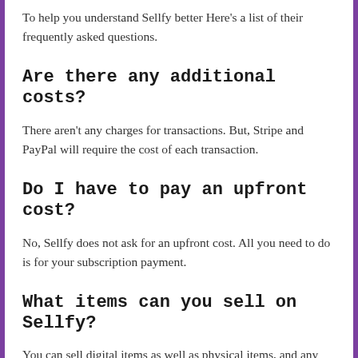To help you understand Sellfy better Here's a list of their frequently asked questions.
Are there any additional costs?
There aren't any charges for transactions. But, Stripe and PayPal will require the cost of each transaction.
Do I have to pay an upfront cost?
No, Sellfy does not ask for an upfront cost. All you need to do is for your subscription payment.
What items can you sell on Sellfy?
You can sell digital items as well as physical items, and any printables.
Is it possible to migrate contacts?